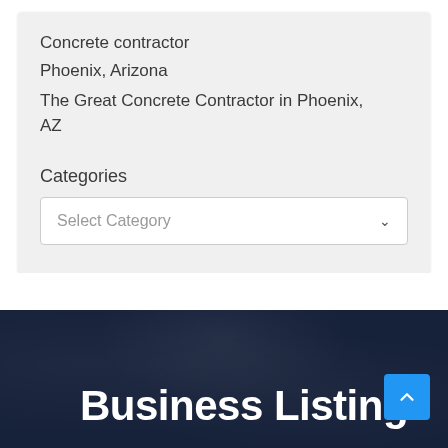Concrete contractor
Phoenix, Arizona
The Great Concrete Contractor in Phoenix, AZ
Categories
Select Category
Business Listings